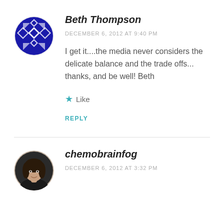[Figure (illustration): Blue geometric/diamond pattern avatar icon for Beth Thompson, circular shape]
Beth Thompson
DECEMBER 6, 2012 AT 9:40 PM
I get it....the media never considers the delicate balance and the trade offs... thanks, and be well! Beth
★ Like
REPLY
[Figure (photo): Profile photo of a woman with dark hair smiling, circular avatar]
chemobrainfog
DECEMBER 6, 2012 AT 3:32 PM